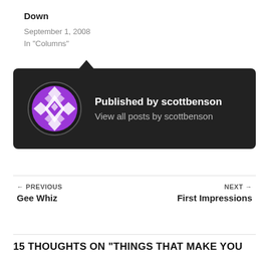Down
September 1, 2008
In "Columns"
[Figure (other): Author card with dark background showing a purple geometric avatar icon and text 'Published by scottbenson' / 'View all posts by scottbenson']
← PREVIOUS
Gee Whiz
NEXT →
First Impressions
15 THOUGHTS ON "THINGS THAT MAKE YOU